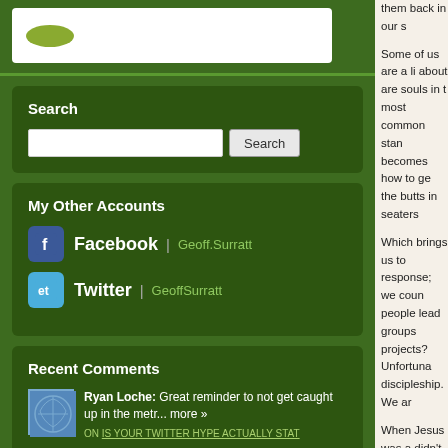[Figure (logo): White rounded rectangle box with olive/green oval shape inside, resembling a logo area]
Search
[Figure (other): Search input field and Search button]
My Other Accounts
Facebook | Geoff.Surratt
Twitter | GeoffSurratt
Recent Comments
Ryan Loche: Great reminder to not get caught up in the metr... more »
ON IS YOUR TWITTER HYPE ACTUALLY STAT
them back in our s
Some of us are a li about are souls in t most common stan becomes how to ge the butts in seaters
Which brings us to response; we coun people lead groups projects? Unfortuna discipleship. We ar
When Jesus was a didn't mention wee by which all succes
1. Do you lov
2. Do you lov
This doesn't preclu important. But whe neighbor should be how we love. So, a